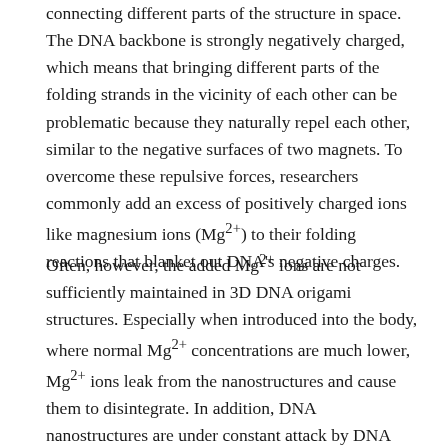connecting different parts of the structure in space. The DNA backbone is strongly negatively charged, which means that bringing different parts of the folding strands in the vicinity of each other can be problematic because they naturally repel each other, similar to the negative surfaces of two magnets. To overcome these repulsive forces, researchers commonly add an excess of positively charged ions like magnesium ions (Mg2+) to their folding reactions that blanket out DNA's negative charges.
Often, however, the added Mg2+ ions are not sufficiently maintained in 3D DNA origami structures. Especially when introduced into the body, where normal Mg2+ concentrations are much lower, Mg2+ ions leak from the nanostructures and cause them to disintegrate. In addition, DNA nanostructures are under constant attack by DNA nuclease enzymes that are naturally produced in the body and degrade free DNA molecules, dramatically reducing